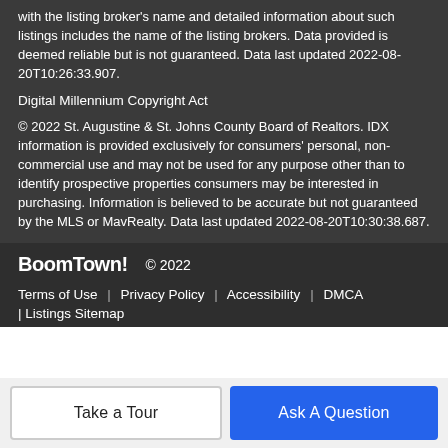with the listing broker's name and detailed information about such listings includes the name of the listing brokers. Data provided is deemed reliable but is not guaranteed. Data last updated 2022-08-20T10:26:33.907.
Digital Millennium Copyright Act
© 2022 St. Augustine & St. Johns County Board of Realtors. IDX information is provided exclusively for consumers' personal, non-commercial use and may not be used for any purpose other than to identify prospective properties consumers may be interested in purchasing. Information is believed to be accurate but not guaranteed by the MLS or MavRealty. Data last updated 2022-08-20T10:30:38.687.
BoomTown! © 2022
Terms of Use | Privacy Policy | Accessibility | DMCA | Listings Sitemap
Take a Tour
Ask A Question